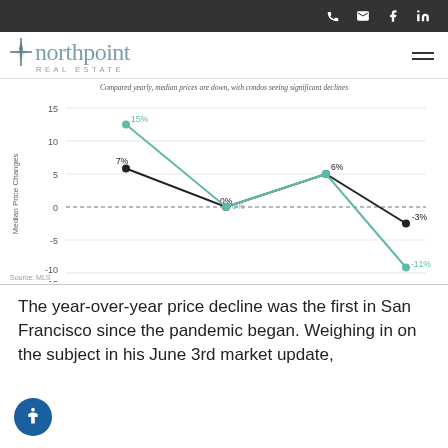northpoint REAL ESTATE
[Figure (line-chart): Compared yearly, median prices are down, with condos seeing significant declines]
Source: MLS
The year-over-year price decline was the first in San Francisco since the pandemic began. Weighing in on the subject in his June 3rd market update,